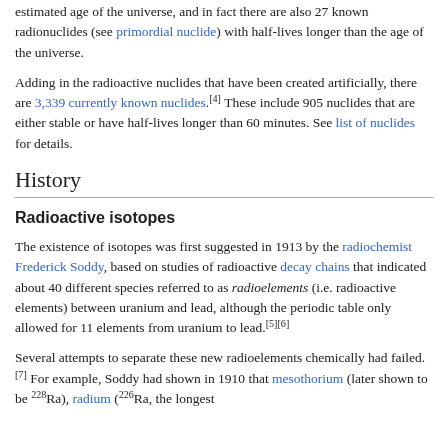estimated age of the universe, and in fact there are also 27 known radionuclides (see primordial nuclide) with half-lives longer than the age of the universe.
Adding in the radioactive nuclides that have been created artificially, there are 3,339 currently known nuclides.[4] These include 905 nuclides that are either stable or have half-lives longer than 60 minutes. See list of nuclides for details.
History
Radioactive isotopes
The existence of isotopes was first suggested in 1913 by the radiochemist Frederick Soddy, based on studies of radioactive decay chains that indicated about 40 different species referred to as radioelements (i.e. radioactive elements) between uranium and lead, although the periodic table only allowed for 11 elements from uranium to lead.[5][6]
Several attempts to separate these new radioelements chemically had failed.[7] For example, Soddy had shown in 1910 that mesothorium (later shown to be 228Ra), radium (226Ra, the longest...